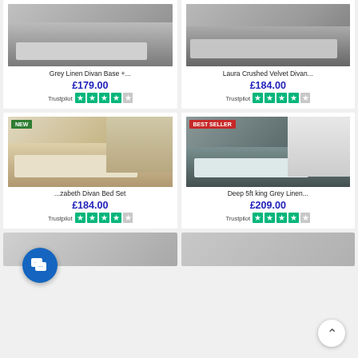[Figure (photo): Grey linen divan bed base product photo (top-left, partially visible)]
Grey Linen Divan Base +...
£179.00
Trustpilot ★★★★☆
[Figure (photo): Laura Crushed Velvet Divan bed product photo (top-right, partially visible)]
Laura Crushed Velvet Divan...
£184.00
Trustpilot ★★★★☆
[Figure (photo): Elizabeth Divan Bed Set product photo with NEW badge]
...zabeth Divan Bed Set
£184.00
Trustpilot ★★★★☆
[Figure (photo): Deep 5ft king Grey Linen divan bed product photo with BEST SELLER badge]
Deep 5ft king Grey Linen...
£209.00
Trustpilot ★★★★☆
[Figure (photo): Bottom-left product photo, partially visible]
[Figure (photo): Bottom-right product photo, partially visible]